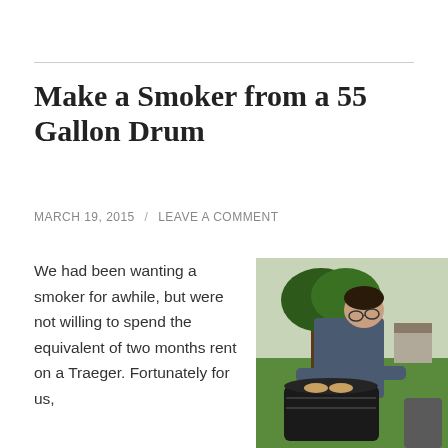Make a Smoker from a 55 Gallon Drum
MARCH 19, 2015 / LEAVE A COMMENT
We had been wanting a smoker for awhile, but were not willing to spend the equivalent of two months rent on a Traeger. Fortunately for us,
[Figure (photo): A person leaning over an outdoor smoker/grill in a backyard with green grass and trees in the background.]